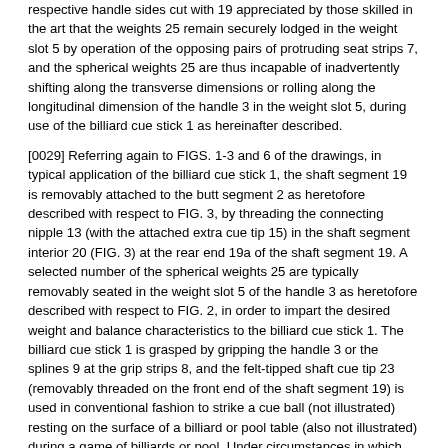respective handle sides cut with 19 appreciated by those skilled in the art that the weights 25 remain securely lodged in the weight slot 5 by operation of the opposing pairs of protruding seat strips 7, and the spherical weights 25 are thus incapable of inadvertently shifting along the transverse dimensions or rolling along the longitudinal dimension of the handle 3 in the weight slot 5, during use of the billiard cue stick 1 as hereinafter described.
[0029] Referring again to FIGS. 1-3 and 6 of the drawings, in typical application of the billiard cue stick 1, the shaft segment 19 is removably attached to the butt segment 2 as heretofore described with respect to FIG. 3, by threading the connecting nipple 13 (with the attached extra cue tip 15) in the shaft segment interior 20 (FIG. 3) at the rear end 19a of the shaft segment 19. A selected number of the spherical weights 25 are typically removably seated in the weight slot 5 of the handle 3 as heretofore described with respect to FIG. 2, in order to impart the desired weight and balance characteristics to the billiard cue stick 1. The billiard cue stick 1 is grasped by gripping the handle 3 or the splines 9 at the grip strips 8, and the felt-tipped shaft cue tip 23 (removably threaded on the front end of the shaft segment 19) is used in conventional fashion to strike a cue ball (not illustrated) resting on the surface of a billiard or pool table (also not illustrated) during a game of billiards or pool. Under circumstances in which the felt contact surface 23a of the shaft cue tip 23 is lost or becomes excessively worn or damaged after extended use of the billiard cue stick 1, the shaft cue tip 23 can be replaced on the shaft segment 19 with the extra